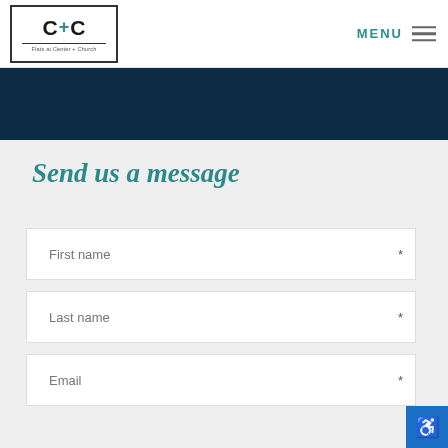[Figure (logo): C+C logo with text 'Flats at Center + Church']
MENU ☰
[Figure (photo): Dark navy blue banner/hero image area]
Send us a message
First name *
Last name *
Email *